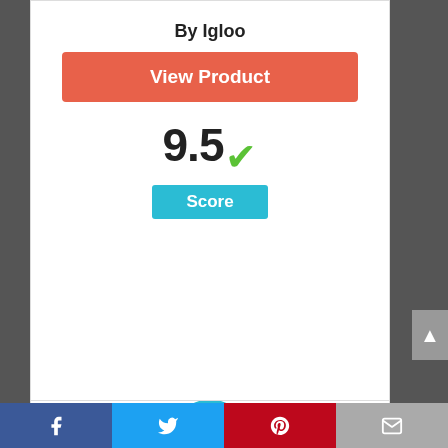By Igloo
View Product
9.5 ✓ Score
[Figure (infographic): Circle with number 3 inside, outlined in blue]
[Figure (photo): Product image partially visible at bottom]
Facebook | Twitter | Pinterest | Email social sharing bar